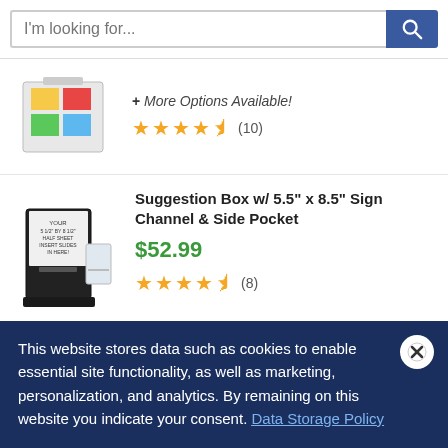I'm looking for...
+ More Options Available!
★★★★½ (10)
Suggestion Box w/ 5.5" x 8.5" Sign Channel & Side Pocket
$52.99
★★★★½ (8)
11" x 9" w/ 8.5" x 11" Sign Channel & Lit.
This website stores data such as cookies to enable essential site functionality, as well as marketing, personalization, and analytics. By remaining on this website you indicate your consent. Data Storage Policy